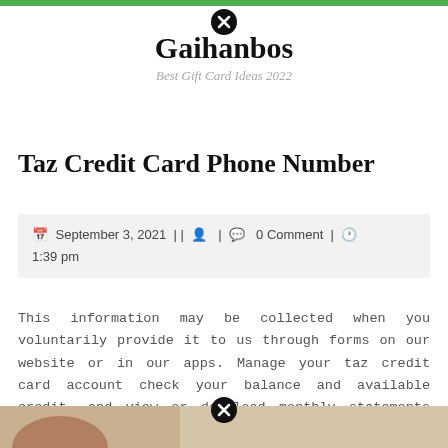Gaihanbos — Best Gift Card Ideas 2022
Taz Credit Card Phone Number
September 3, 2021 || 🧑 | 💬 0 Comment | 🕐 1:39 pm
This information may be collected when you voluntarily provide it to us through forms on our website or in our apps. Manage your taz credit card account check your balance and available credit, and view or download monthly statements view payment due date and make payments manage autopay by enrolling, editing or canceling update.
[Figure (photo): Partial image visible at bottom of page with a close button overlay]